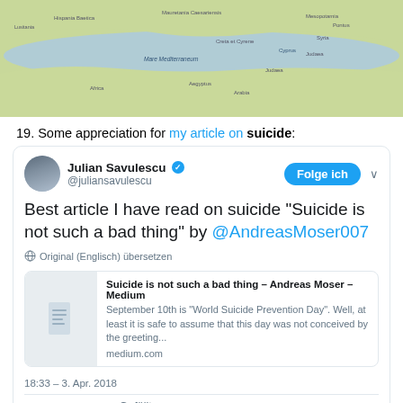[Figure (map): Partial map showing Mediterranean region with land areas in green/beige and sea in blue, with place names in small text]
19. Some appreciation for my article on suicide:
[Figure (screenshot): Tweet by Julian Savulescu (@juliansavulescu) with verified badge: 'Best article I have read on suicide "Suicide is not such a bad thing" by @AndreasMoser007'. Includes a link card to Medium article 'Suicide is not such a bad thing – Andreas Moser – Medium'. Time: 18:33 - 3. Apr. 2018. 18 Retweets 40 Gefällt mir-Angaben]
20. Expats are immigrants who refuse to learn the